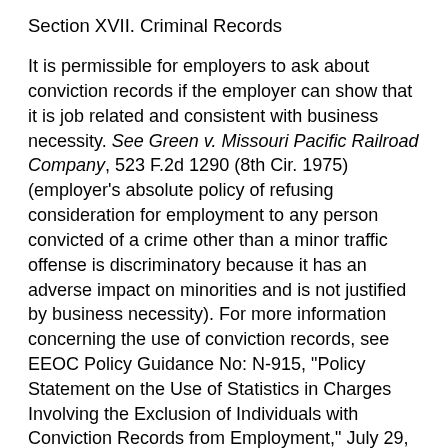Section XVII. Criminal Records
It is permissible for employers to ask about conviction records if the employer can show that it is job related and consistent with business necessity. See Green v. Missouri Pacific Railroad Company, 523 F.2d 1290 (8th Cir. 1975) (employer's absolute policy of refusing consideration for employment to any person convicted of a crime other than a minor traffic offense is discriminatory because it has an adverse impact on minorities and is not justified by business necessity). For more information concerning the use of conviction records, see EEOC Policy Guidance No: N-915, "Policy Statement on the Use of Statistics in Charges Involving the Exclusion of Individuals with Conviction Records from Employment," July 29, 1987 (attached); EEOC Policy Guidance No: N-915, "Policy Statement on the Issue of Conviction Records under Title VII of the Civil Rights Act of 1964," February 4,